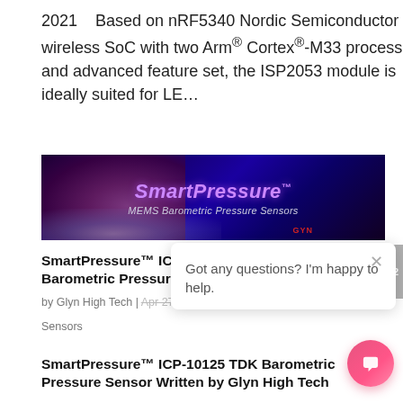2021    Based on nRF5340 Nordic Semiconductor wireless SoC with two Arm® Cortex®-M33 processors and advanced feature set, the ISP2053 module is ideally suited for LE...
[Figure (photo): SmartPressure MEMS Barometric Pressure Sensors banner image with purple and dark blue background showing a swimmer/water splash, with the text SmartPressure MEMS Barometric Pressure Sensors and a logo.]
SmartPressure™ ICP Barometric Pressure Sensor
by Glyn High Tech | Apr 27, 2021 | Press Releases, Sensors
SmartPressure™ ICP-10125 TDK Barometric Pressure Sensor Written by Glyn High Tech